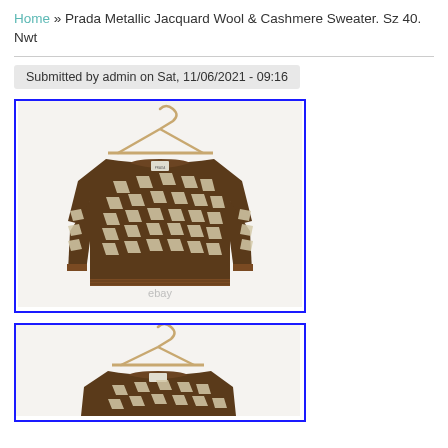Home » Prada Metallic Jacquard Wool & Cashmere Sweater. Sz 40. Nwt
Submitted by admin on Sat, 11/06/2021 - 09:16
[Figure (photo): Prada Metallic Jacquard Wool & Cashmere Sweater on a hanger, brown and cream geometric pattern, with ebay watermark]
[Figure (photo): Same Prada sweater on a hanger, partial view showing shoulder and top portion, brown and cream geometric pattern]